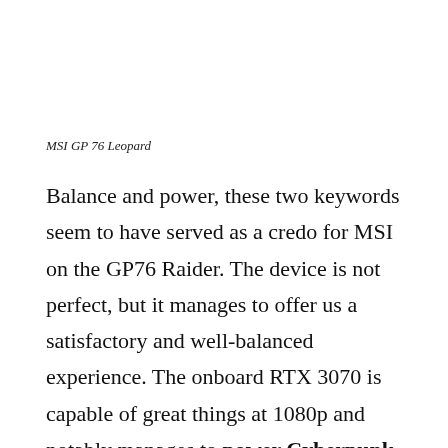MSI GP 76 Leopard
Balance and power, these two keywords seem to have served as a credo for MSI on the GP76 Raider. The device is not perfect, but it manages to offer us a satisfactory and well-balanced experience. The onboard RTX 3070 is capable of great things at 1080p and notably manages to power Cyberpunk 2077 without the slightest problem at a high framerate with all the details at their zenith. Very good performance is made possible in part by the efficiency of the dissipation system designed by MSI, which manages to